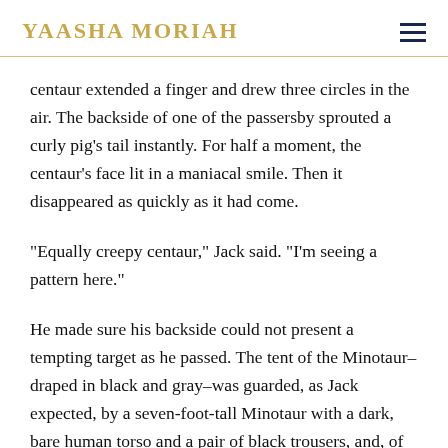YAASHA MORIAH
centaur extended a finger and drew three circles in the air. The backside of one of the passersby sprouted a curly pig's tail instantly. For half a moment, the centaur's face lit in a maniacal smile. Then it disappeared as quickly as it had come.
"Equally creepy centaur," Jack said. "I'm seeing a pattern here."
He made sure his backside could not present a tempting target as he passed. The tent of the Minotaur–draped in black and gray–was guarded, as Jack expected, by a seven-foot-tall Minotaur with a dark, bare human torso and a pair of black trousers, and, of